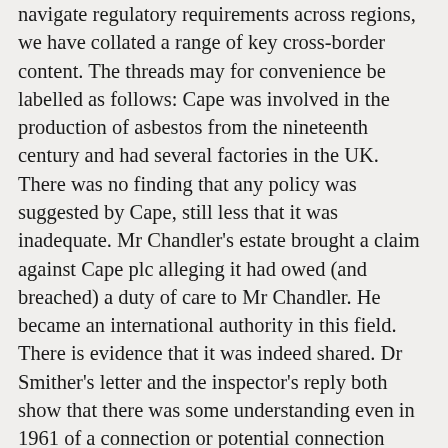navigate regulatory requirements across regions, we have collated a range of key cross-border content. The threads may for convenience be labelled as follows: Cape was involved in the production of asbestos from the nineteenth century and had several factories in the UK. There was no finding that any policy was suggested by Cape, still less that it was inadequate. Mr Chandler's estate brought a claim against Cape plc alleging it had owed (and breached) a duty of care to Mr Chandler. He became an international authority in this field. There is evidence that it was indeed shared. Dr Smither's letter and the inspector's reply both show that there was some understanding even in 1961 of a connection or potential connection between dust exposure and the development of asbestosis. It is convenient to deal with this ground first, since Mr Owen QC, for the appellant, realistically accepts Mr Chandler's case did not, however, stand on